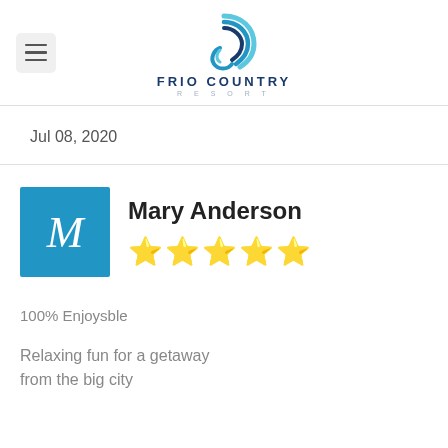[Figure (logo): Frio Country Resort logo with circular wave graphic and text FRIO COUNTRY RESORT]
Jul 08, 2020
Mary Anderson
★★★★★
100% Enjoysble
Relaxing fun for a getaway from the big city